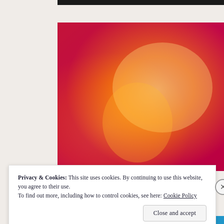[Figure (illustration): Abstract gradient image transitioning from orange/yellow on the left to deep magenta/red on the right, with a bright warm glowing spot in the center-right area.]
Privacy & Cookies: This site uses cookies. By continuing to use this website, you agree to their use.
To find out more, including how to control cookies, see here: Cookie Policy